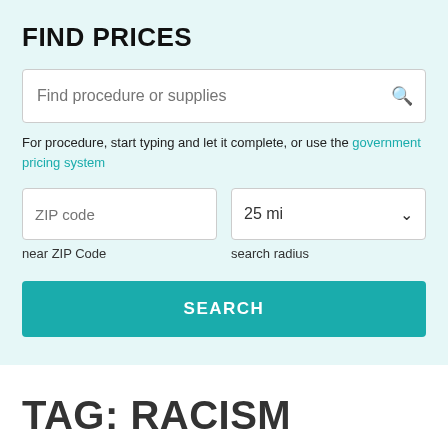FIND PRICES
[Figure (screenshot): Search input box with placeholder text 'Find procedure or supplies' and a search icon on the right]
For procedure, start typing and let it complete, or use the government pricing system
[Figure (screenshot): Two input fields side by side: ZIP code text input and a dropdown showing '25 mi' with chevron; labels below read 'near ZIP Code' and 'search radius']
[Figure (screenshot): Teal SEARCH button spanning full width]
TAG: RACISM
Coronavirus (Covid-19) and